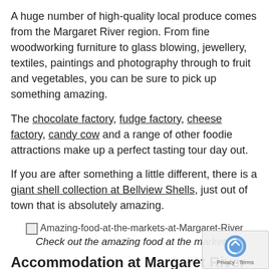A huge number of high-quality local produce comes from the Margaret River region. From fine woodworking furniture to glass blowing, jewellery, textiles, paintings and photography through to fruit and vegetables, you can be sure to pick up something amazing.
The chocolate factory, fudge factory, cheese factory, candy cow and a range of other foodie attractions make up a perfect tasting tour day out.
If you are after something a little different, there is a giant shell collection at Bellview Shells, just out of town that is absolutely amazing.
[Figure (photo): Image placeholder showing Amazing-food-at-the-markets-at-Margaret-River]
Check out the amazing food at the markets.
Accommodation at Margaret River
There is every form of accommodation you'd ever want around Margaret River. From unpowered bush campsites to beach shacks, glamping, backpackers, motels, apartments, tree houses, mud brick cottages, lifestyle blocks, bed and breakfasts, Airbnb's,